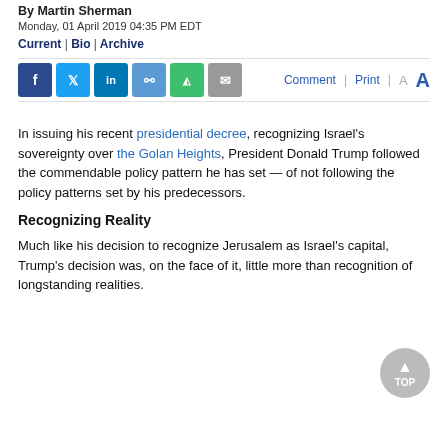By Martin Sherman
Monday, 01 April 2019 04:35 PM EDT
Current | Bio | Archive
[Figure (screenshot): Social share toolbar with icons for Facebook, Twitter, LinkedIn, link, SMS, email, and Comment, Print, A A controls]
In issuing his recent presidential decree, recognizing Israel's sovereignty over the Golan Heights, President Donald Trump followed the commendable policy pattern he has set — of not following the policy patterns set by his predecessors.
Recognizing Reality
Much like his decision to recognize Jerusalem as Israel's capital, Trump's decision was, on the face of it, little more than recognition of longstanding realities.